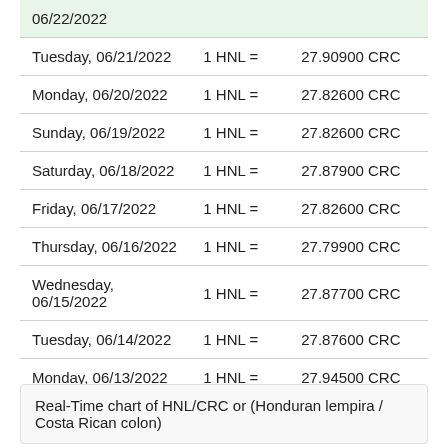| Date | Rate | Value |
| --- | --- | --- |
| 06/22/2022 |  |  |
| Tuesday, 06/21/2022 | 1 HNL = | 27.90900 CRC |
| Monday, 06/20/2022 | 1 HNL = | 27.82600 CRC |
| Sunday, 06/19/2022 | 1 HNL = | 27.82600 CRC |
| Saturday, 06/18/2022 | 1 HNL = | 27.87900 CRC |
| Friday, 06/17/2022 | 1 HNL = | 27.82600 CRC |
| Thursday, 06/16/2022 | 1 HNL = | 27.79900 CRC |
| Wednesday, 06/15/2022 | 1 HNL = | 27.87700 CRC |
| Tuesday, 06/14/2022 | 1 HNL = | 27.87600 CRC |
| Monday, 06/13/2022 | 1 HNL = | 27.94500 CRC |
Real-Time chart of HNL/CRC or (Honduran lempira / Costa Rican colon)